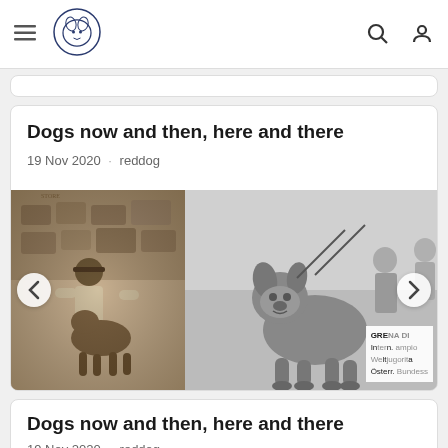Navigation bar with hamburger menu, dog logo, search icon, and user icon
Dogs now and then, here and there
19 Nov 2020 · reddog
[Figure (photo): Two black and white photographs of dogs. Left: vintage sepia photo of a man with a bulldog in front of a store. Right: black and white photo of a bulldog standing, with text overlay reading 'GRENADI Intern. ampio Weltjugoria Österr. Bundess']
Dogs now and then, here and there
19 Nov 2020 · reddog